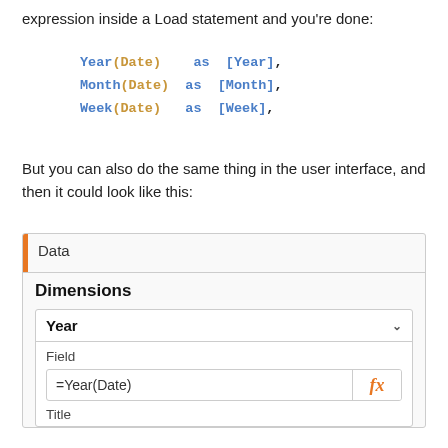expression inside a Load statement and you're done:
Year(Date)    as [Year],
Month(Date)  as [Month],
Week(Date)   as [Week],
But you can also do the same thing in the user interface, and then it could look like this:
[Figure (screenshot): UI panel showing a 'Data' header with an orange left bar, a 'Dimensions' section, and a 'Year' expandable row containing a 'Field' input with '=Year(Date)' and an fx button, followed by a 'Title' label at the bottom.]